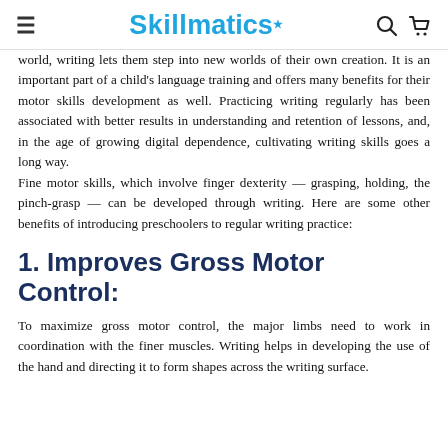Skillmatics
world, writing lets them step into new worlds of their own creation. It is an important part of a child's language training and offers many benefits for their motor skills development as well. Practicing writing regularly has been associated with better results in understanding and retention of lessons, and, in the age of growing digital dependence, cultivating writing skills goes a long way.
Fine motor skills, which involve finger dexterity — grasping, holding, the pinch-grasp — can be developed through writing. Here are some other benefits of introducing preschoolers to regular writing practice:
1. Improves Gross Motor Control:
To maximize gross motor control, the major limbs need to work in coordination with the finer muscles. Writing helps in developing the use of the hand and directing it to form shapes across the writing surface.